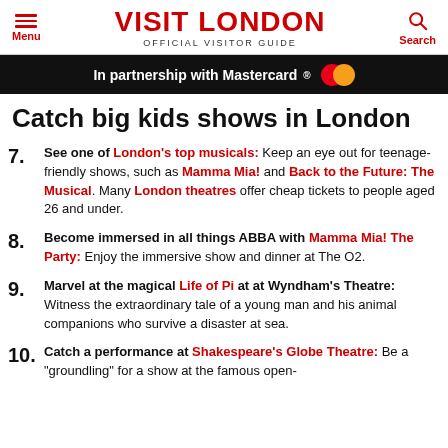VISIT LONDON — OFFICIAL VISITOR GUIDE
In partnership with Mastercard®
Catch big kids shows in London
7. See one of London's top musicals: Keep an eye out for teenage-friendly shows, such as Mamma Mia! and Back to the Future: The Musical. Many London theatres offer cheap tickets to people aged 26 and under.
8. Become immersed in all things ABBA with Mamma Mia! The Party: Enjoy the immersive show and dinner at The O2.
9. Marvel at the magical Life of Pi at at Wyndham's Theatre: Witness the extraordinary tale of a young man and his animal companions who survive a disaster at sea.
10. Catch a performance at Shakespeare's Globe Theatre: Be a "groundling" for a show at the famous open-